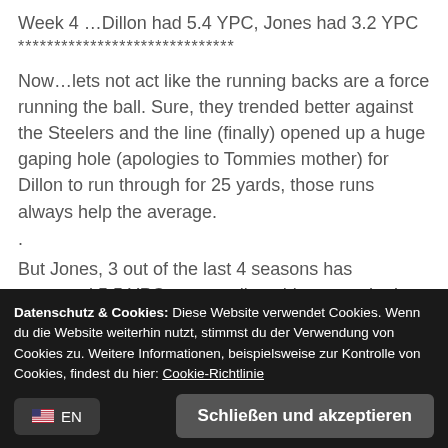Week 4 …Dillon had 5.4 YPC, Jones had 3.2 YPC
******************************
Now…lets not act like the running backs are a force running the ball. Sure, they trended better against the Steelers and the line (finally) opened up a huge gaping hole (apologies to Tommies mother) for Dillon to run through for 25 yards, those runs always help the average.
.
But Jones, 3 out of the last 4 seasons has averaged 5.5 YPC..outstanding, this year….he is at 3.7 YPC so far.
Datenschutz & Cookies: Diese Website verwendet Cookies. Wenn du die Website weiterhin nutzt, stimmst du der Verwendung von Cookies zu. Weitere Informationen, beispielsweise zur Kontrolle von Cookies, findest du hier: Cookie-Richtlinie
Schließen und akzeptieren